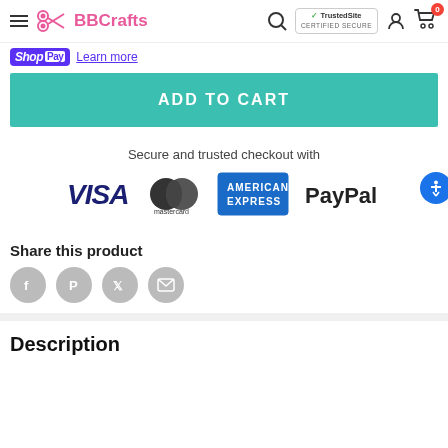BBCrafts navigation bar with hamburger menu, logo, search, TrustedSite badge, account icon, and cart (0)
Shop Pay  Learn more
ADD TO CART
Secure and trusted checkout with
[Figure (logo): Payment logos: VISA, Mastercard, American Express, PayPal]
Share this product
[Figure (infographic): Social share icons: Facebook, Pinterest, Twitter, Email]
Description